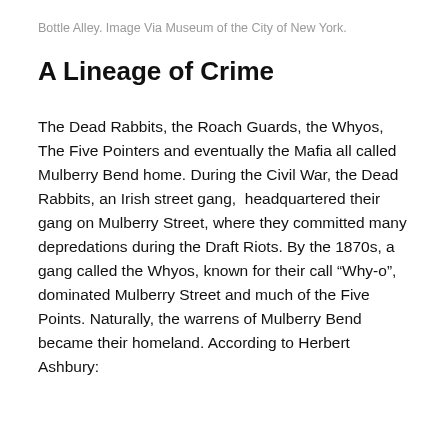Bottle Alley. Image Via Museum of the City of New York.
A Lineage of Crime
The Dead Rabbits, the Roach Guards, the Whyos, The Five Pointers and eventually the Mafia all called Mulberry Bend home. During the Civil War, the Dead Rabbits, an Irish street gang,  headquartered their gang on Mulberry Street, where they committed many depredations during the Draft Riots. By the 1870s, a gang called the Whyos, known for their call “Why-o”, dominated Mulberry Street and much of the Five Points. Naturally, the warrens of Mulberry Bend became their homeland. According to Herbert Ashbury: